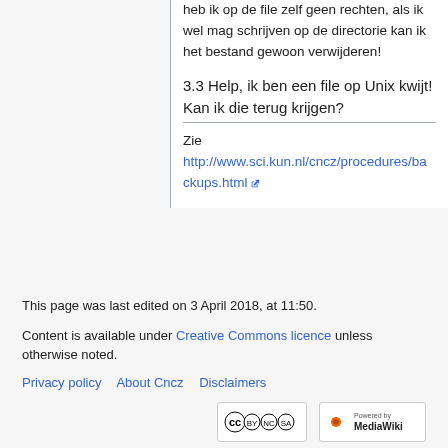heb ik op de file zelf geen rechten, als ik wel mag schrijven op de directorie kan ik het bestand gewoon verwijderen!
3.3 Help, ik ben een file op Unix kwijt! Kan ik die terug krijgen?
Zie http://www.sci.kun.nl/cncz/procedures/backups.html
This page was last edited on 3 April 2018, at 11:50.
Content is available under Creative Commons licence unless otherwise noted.
Privacy policy   About Cncz   Disclaimers